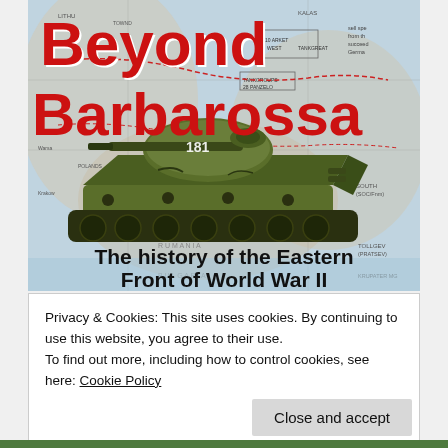[Figure (illustration): Book cover for 'Beyond Barbarossa: The history of the Eastern Front of World War II'. Shows a WWII-era Soviet T-34 tank in olive green with the number 181, overlaid on a military map of Eastern Europe. Title text in large red bold letters at top. Subtitle in large black bold letters at bottom of cover.]
Privacy & Cookies: This site uses cookies. By continuing to use this website, you agree to their use.
To find out more, including how to control cookies, see here: Cookie Policy
Close and accept